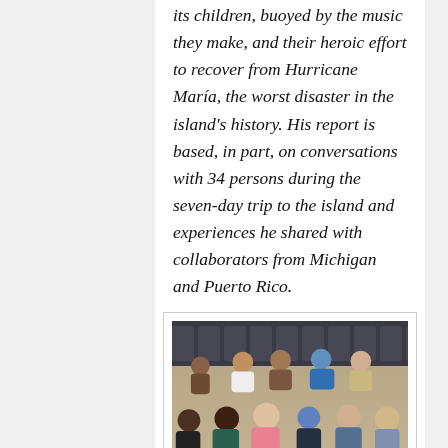its children, buoyed by the music they make, and their heroic effort to recover from Hurricane María, the worst disaster in the island's history. His report is based, in part, on conversations with 34 persons during the seven-day trip to the island and experiences he shared with collaborators from Michigan and Puerto Rico.
[Figure (photo): Group photo of approximately 11 students/musicians seated in rows in an auditorium or rehearsal room with dark theater seats visible in the background. Taken at Puerto Rico Conservatory of Music in San Juan.]
At Puerto Rico Conservatory of Music in San Juan. Back (l-r): Roxanna Duntley-Matos; Xavier